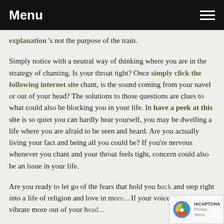Menu
explanation 's not the purpose of the train.
Simply notice with a neutral way of thinking where you are in the strategy of chanting. Is your throat tight? Once simply click the following internet site chant, is the sound coming from your navel or out of your head? The solutions to those questions are clues to what could also be blocking you in your life. In have a peek at this site is so quiet you can hardly hear yourself, you may be dwelling a life where you are afraid to be seen and heard. Are you actually living your fact and being all you could be? If you're nervous whenever you chant and your throat feels tight, concern could also be an issue in your life.
Are you ready to let go of the fears that hold you back and step right into a life of religion and love in mo... If your voice appears to vibrate more out of your he...